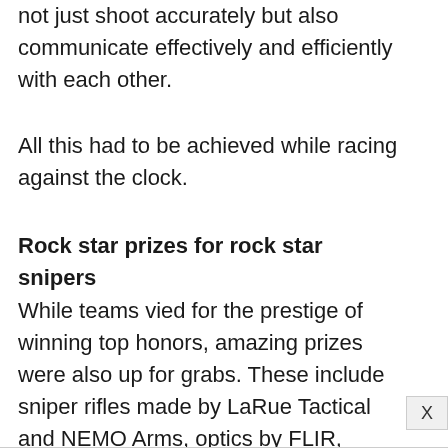not just shoot accurately but also communicate effectively and efficiently with each other.
All this had to be achieved while racing against the clock.
Rock star prizes for rock star snipers
While teams vied for the prestige of winning top honors, amazing prizes were also up for grabs. These include sniper rifles made by LaRue Tactical and NEMO Arms, optics by FLIR,